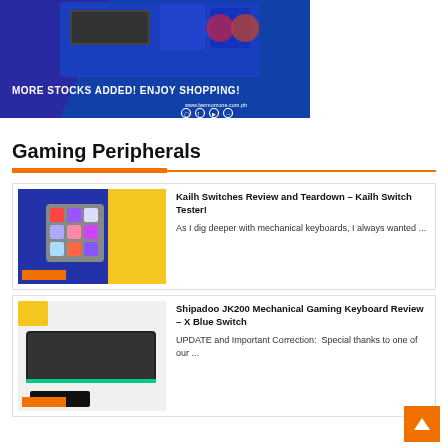[Figure (illustration): Blue promotional banner for bermorzone.com.ph showing gaming peripherals with text MORE STOCKS ADDED! ENJOY SHOPPING!]
Gaming Peripherals
[Figure (photo): Photo of Kailh switch tester with colorful mechanical keyboard switches on blue and yellow background]
Kailh Switches Review and Teardown – Kailh Switch Tester!
As I dig deeper with mechanical keyboards, I always wanted ...
[Figure (photo): Photo of Shipadoo JK200 mechanical gaming keyboard on white surface]
Shipadoo JK200 Mechanical Gaming Keyboard Review – X Blue Switch
UPDATE and Important Correction:  Special thanks to one of our ...